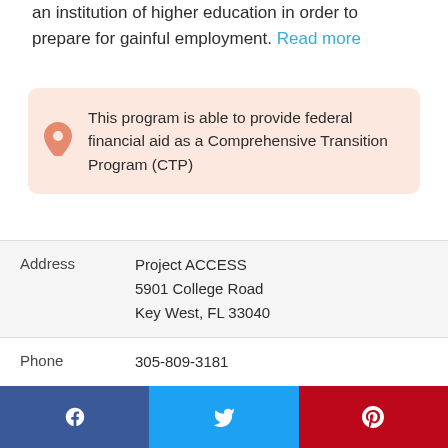an institution of higher education in order to prepare for gainful employment. Read more
This program is able to provide federal financial aid as a Comprehensive Transition Program (CTP)
| Field | Value |
| --- | --- |
| Address | Project ACCESS
5901 College Road
Key West, FL 33040 |
| Phone | 305-809-3181 |
| Web | Program website |
| Contact | Katie Norland |
[Figure (other): Social media share buttons: Facebook, Twitter, Pinterest]